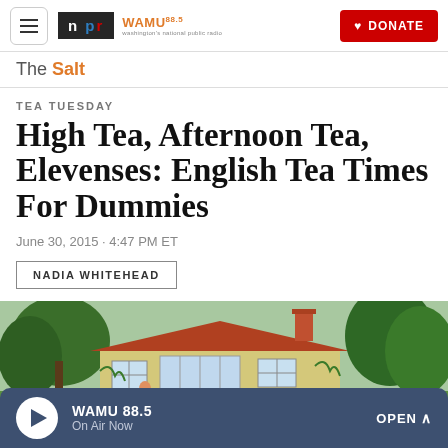NPR WAMU 88.5 | DONATE
The Salt
TEA TUESDAY
High Tea, Afternoon Tea, Elevenses: English Tea Times For Dummies
June 30, 2015 · 4:47 PM ET
NADIA WHITEHEAD
[Figure (illustration): Illustrated English cottage with red tile roof, yellow walls, surrounded by green trees and garden]
WAMU 88.5 On Air Now OPEN